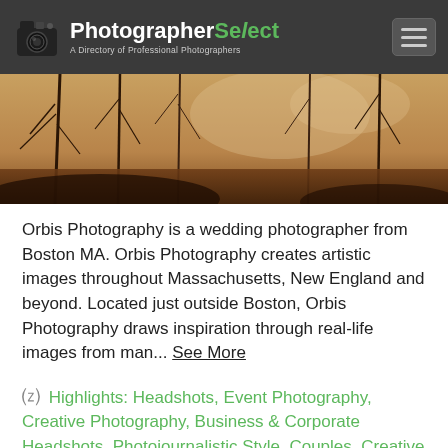PhotographerSelect — A Directory of Professional Photographers
[Figure (photo): Sepia-toned outdoor nature/woodland scene, used as hero banner image]
Orbis Photography is a wedding photographer from Boston MA. Orbis Photography creates artistic images throughout Massachusetts, New England and beyond. Located just outside Boston, Orbis Photography draws inspiration through real-life images from man... See More
⊙ Highlights: Headshots, Event Photography, Creative Photography, Business & Corporate Headshots, Photojournalistic Style, Couples, Creative Event Photos, Nature, Outdoor, Parties, Cars, Youth Sport Photography, Portraits, Interiors, Natural Light, Wedding Photography, Lifestyle Photography, Childbirth Photography, Wedding